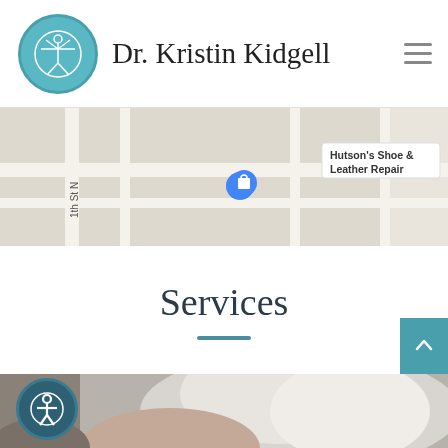Dr. Kristin Kidgell
[Figure (map): Google Maps street map showing location near 1th St N with markers for a shopping bag location and Hutson's Shoe & Leather Repair]
Services
[Figure (photo): Close-up photo of a person in a white t-shirt, showing shoulder/arm area, medical or chiropractic context]